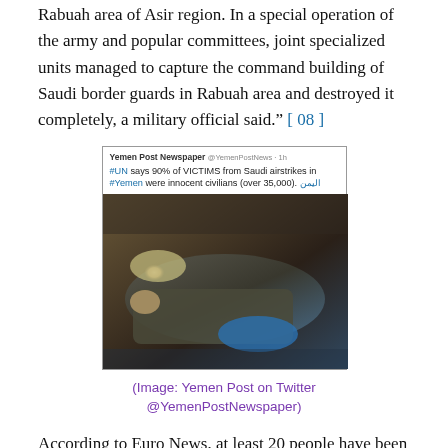Rabuah area of Asir region. In a special operation of the army and popular committees, joint specialized units managed to capture the command building of Saudi border guards in Rabuah area and destroyed it completely, a military official said." [ 08 ]
[Figure (screenshot): Screenshot of a Yemen Post Newspaper tweet saying '#UN says 90% of VICTIMS from Saudi airstrikes in #Yemen were innocent civilians (over 35,000). اليمن' with a photo of a person lying down apparently injured or deceased.]
(Image: Yemen Post on Twitter @YemenPostNewspaper)
According to Euro News, at least 20 people have been killed at a market in the town of Marib, east of Sana'a in